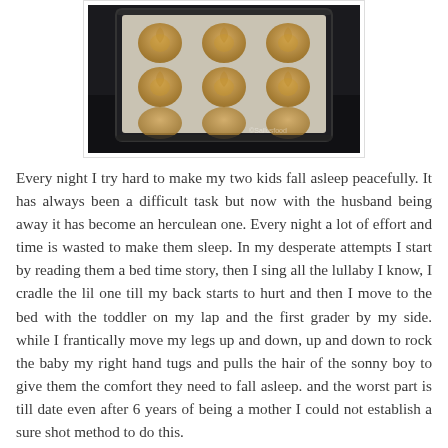[Figure (photo): A dark photograph showing golden baked bread rolls arranged in a baking tray, shot from above on a dark wooden surface.]
Every night I try hard to make my two kids fall asleep peacefully. It has always been a difficult task but now with the husband being away it has become an herculean one. Every night a lot of effort and time is wasted to make them sleep. In my desperate attempts I start by reading them a bed time story, then I sing all the lullaby I know, I cradle the lil one till my back starts to hurt and then I move to the bed with the toddler on my lap and the first grader by my side. while I frantically move my legs up and down, up and down to rock the baby my right hand tugs and pulls the hair of the sonny boy to give them the comfort they need to fall asleep. and the worst part is till date even after 6 years of being a mother I could not establish a sure shot method to do this.